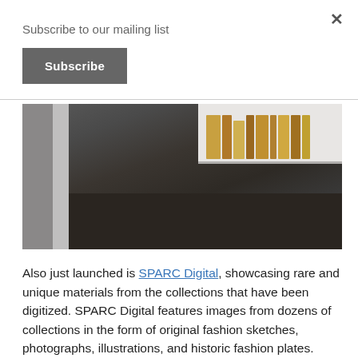Subscribe to our mailing list
Subscribe
[Figure (photo): Dark interior photograph showing filing cabinets or shelving units with books/folders on shelves, dimly lit room with dark floor]
Also just launched is SPARC Digital, showcasing rare and unique materials from the collections that have been digitized. SPARC Digital features images from dozens of collections in the form of original fashion sketches, photographs, illustrations, and historic fashion plates.